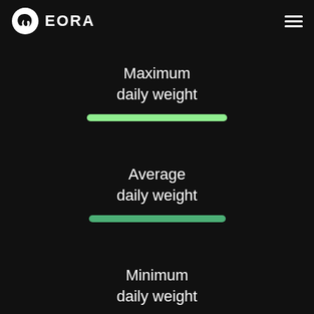[Figure (logo): EORA logo: white stylized elephant head icon followed by bold white text 'EORA']
[Figure (other): Hamburger menu icon (three horizontal white lines) in top right corner]
Maximum
daily weight
[Figure (infographic): Light green horizontal bar representing Maximum daily weight]
Average
daily weight
[Figure (infographic): Green horizontal bar representing Average daily weight]
Minimum
daily weight
[Figure (infographic): Green horizontal bar representing Minimum daily weight (partially visible at bottom)]